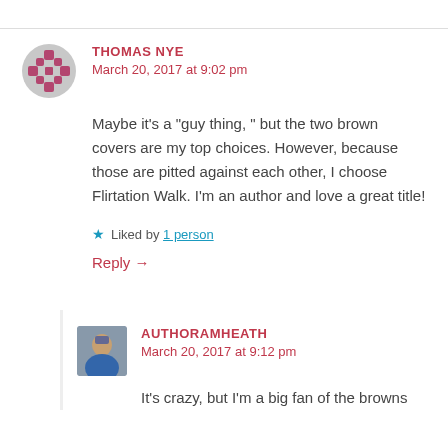THOMAS NYE
March 20, 2017 at 9:02 pm
Maybe it’s a “guy thing, ” but the two brown covers are my top choices. However, because those are pitted against each other, I choose Flirtation Walk. I’m an author and love a great title!
★ Liked by 1 person
Reply →
AUTHORAMHEATH
March 20, 2017 at 9:12 pm
It’s crazy, but I’m a big fan of the browns